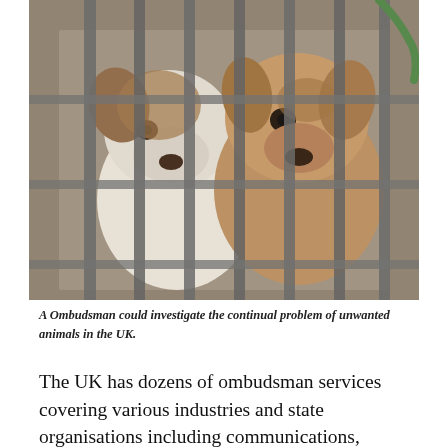[Figure (photo): Two puppies — one white and brown, one tan/brown — looking through metal cage bars. The photo is taken close up showing their faces and paws pressed against the bars.]
A Ombudsman could investigate the continual problem of unwanted animals in the UK.
The UK has dozens of ombudsman services covering various industries and state organisations including communications, energy, finance, the motor industry, health, housing and even ones for the removal trade,